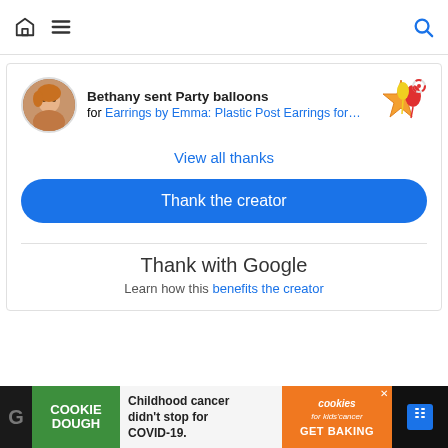Navigation bar with home icon, menu icon, and search icon
Bethany sent Party balloons for Earrings by Emma: Plastic Post Earrings for…
View all thanks
Thank the creator
Thank with Google
Learn how this benefits the creator
[Figure (screenshot): Ad banner: Cookie Dough green logo on left, text 'Childhood cancer didn't stop for COVID-19.' in middle, Cookies for Kids Cancer orange GET BAKING button on right]